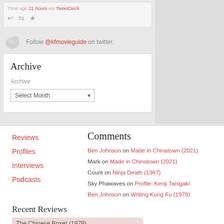Time ago 21 hours via TweetDeck
Follow @kfmovieguide on twitter.
Archive
Archive
Select Month
Reviews
Profiles
Interviews
Podcasts
Comments
Ben Johnson on Made in Chinatown (2021)
Mark on Made in Chinatown (2021)
Count on Ninja Death (1987)
Sky Phawaves on Profile: Kenji Tanigaki
Ben Johnson on Writing Kung Fu (1979)
Recent Reviews
The Chinese Boxer (1979)